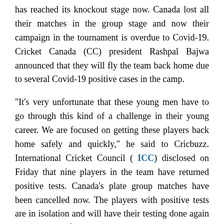has reached its knockout stage now. Canada lost all their matches in the group stage and now their campaign in the tournament is overdue to Covid-19. Cricket Canada (CC) president Rashpal Bajwa announced that they will fly the team back home due to several Covid-19 positive cases in the camp.
"It's very unfortunate that these young men have to go through this kind of a challenge in their young career. We are focused on getting these players back home safely and quickly," he said to Cricbuzz. International Cricket Council ( ICC) disclosed on Friday that nine players in the team have returned positive tests. Canada's plate group matches have been cancelled now. The players with positive tests are in isolation and will have their testing done again in a couple of days. Bajwa said that it is a very unfortunate incident.
"It's a very unfortunate incident that most of our players tested positive but that's the world we are living in with this pandemic," he said.
CC released a statement saying that the affected players are asymptomatic.